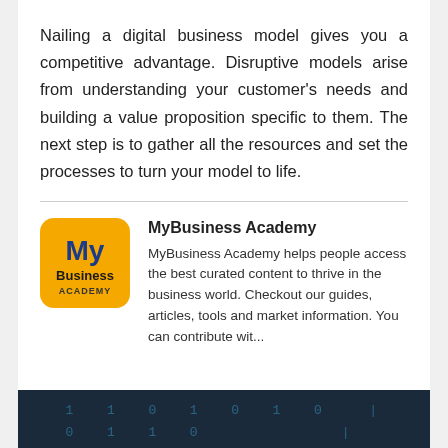Nailing a digital business model gives you a competitive advantage. Disruptive models arise from understanding your customer's needs and building a value proposition specific to them. The next step is to gather all the resources and set the processes to turn your model to life.
[Figure (logo): MyBusiness Academy logo — yellow/orange rounded square with 'My' in blue bold text and 'Business ACADEMY' below in dark text]
MyBusiness Academy
MyBusiness Academy helps people access the best curated content to thrive in the business world. Checkout our guides, articles, tools and market information. You can contribute wit...
[Figure (illustration): Dark navy background with binary digits (1s and 0s) arranged in rows, suggesting a digital/technology theme]